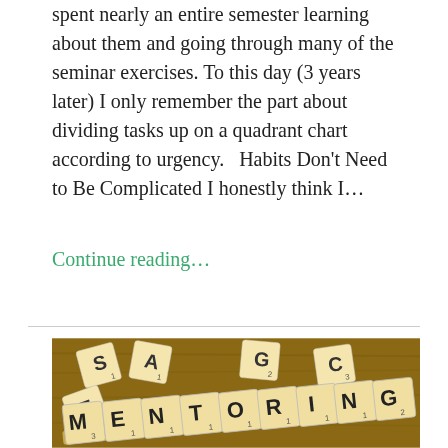spent nearly an entire semester learning about them and going through many of the seminar exercises. To this day (3 years later) I only remember the part about dividing tasks up on a quadrant chart according to urgency.   Habits Don't Need to Be Complicated I honestly think I…
Continue reading...
[Figure (photo): Photo of Scrabble tiles spelling MENTORING on a wooden surface, with scattered individual letter tiles in the background.]